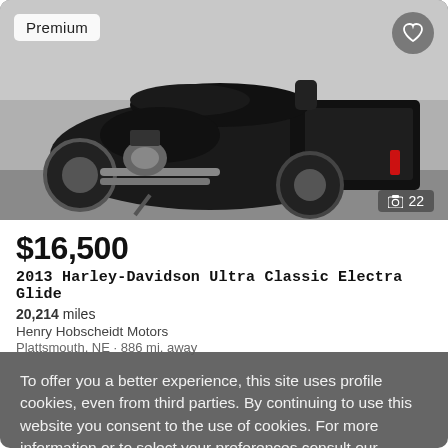[Figure (photo): Black Harley-Davidson Ultra Classic Electra Glide motorcycle photographed from the left side, showing seat, saddlebags, and chrome engine details. A 'Premium' badge appears in the top-left corner, a heart/favorite button in the top-right, and a photo count indicator showing camera icon and '22' in the bottom-right of the image.]
$16,500
2013 Harley-Davidson Ultra Classic Electra Glide
20,214 miles
Henry Hobscheidt Motors
Plattsmouth, NE · 886 mi. away
To offer you a better experience, this site uses profile cookies, even from third parties. By continuing to use this website you consent to the use of cookies. For more information or to select your preferences consult our Privacy Policy